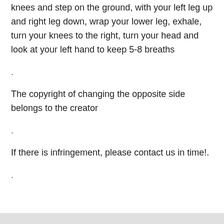knees and step on the ground, with your left leg up and right leg down, wrap your lower leg, exhale, turn your knees to the right, turn your head and look at your left hand to keep 5-8 breaths
.
The copyright of changing the opposite side belongs to the creator
.
If there is infringement, please contact us in time!.
.